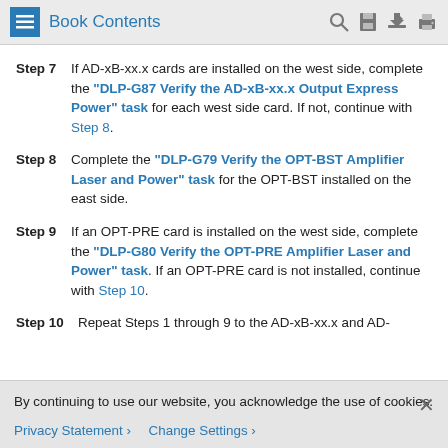Book Contents
Step 7 If AD-xB-xx.x cards are installed on the west side, complete the "DLP-G87 Verify the AD-xB-xx.x Output Express Power" task for each west side card. If not, continue with Step 8.
Step 8 Complete the "DLP-G79 Verify the OPT-BST Amplifier Laser and Power" task for the OPT-BST installed on the east side.
Step 9 If an OPT-PRE card is installed on the west side, complete the "DLP-G80 Verify the OPT-PRE Amplifier Laser and Power" task. If an OPT-PRE card is not installed, continue with Step 10.
Step 10 Repeat Steps 1 through 9 to the AD-xB-xx.x and AD-
By continuing to use our website, you acknowledge the use of cookies.
Privacy Statement > Change Settings >